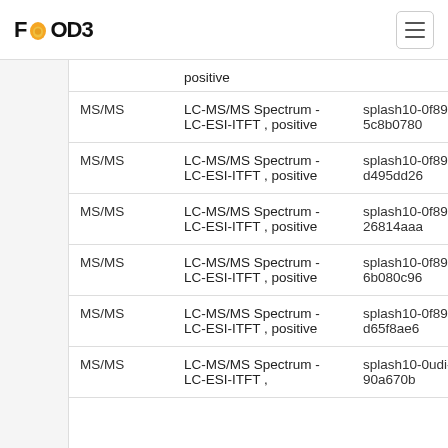FOODB
| Type | Spectrum | Splash ID |
| --- | --- | --- |
| MS/MS | LC-MS/MS Spectrum - LC-ESI-ITFT , positive | splash10-0f89-0 071f595c8b0780 |
| MS/MS | LC-MS/MS Spectrum - LC-ESI-ITFT , positive | splash10-0f89-0 efe1cbd495dd26 |
| MS/MS | LC-MS/MS Spectrum - LC-ESI-ITFT , positive | splash10-0f89-0 1aad026814aaa |
| MS/MS | LC-MS/MS Spectrum - LC-ESI-ITFT , positive | splash10-0f89-0 cf96556b080c96 |
| MS/MS | LC-MS/MS Spectrum - LC-ESI-ITFT , positive | splash10-0f89-1 d03cf3d65f8ae6 |
| MS/MS | LC-MS/MS Spectrum - LC-ESI-ITFT , | splash10-0udi-0 b2b15d90a670b |